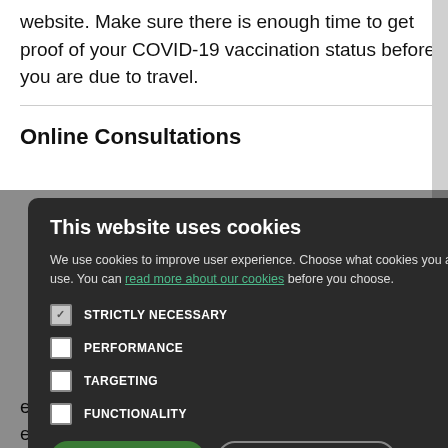website. Make sure there is enough time to get proof of your COVID-19 vaccination status before you are due to travel.
Online Consultations
n you can leave lt. Once you and be giving you a
[Figure (screenshot): Cookie consent modal dialog on a dark background. Title: This website uses cookies. Body text about user experience and cookies with a link 'read more about our cookies'. Four checkboxes: STRICTLY NECESSARY (checked), PERFORMANCE (unchecked), TARGETING (unchecked), FUNCTIONALITY (unchecked). Two buttons: ACCEPT ALL (green) and DECLINE ALL (outline).]
ear the law pt-out" system. This means that everyone will be considered an